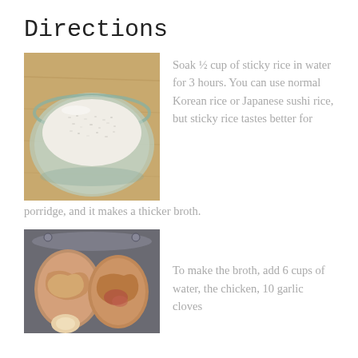Directions
[Figure (photo): A glass bowl filled with white sticky rice, viewed from above, on a wooden surface.]
Soak ½ cup of sticky rice in water for 3 hours. You can use normal Korean rice or Japanese sushi rice, but sticky rice tastes better for porridge, and it makes a thicker broth.
[Figure (photo): Raw chicken pieces in a metal pot, ready for making broth.]
To make the broth, add 6 cups of water, the chicken, 10 garlic cloves